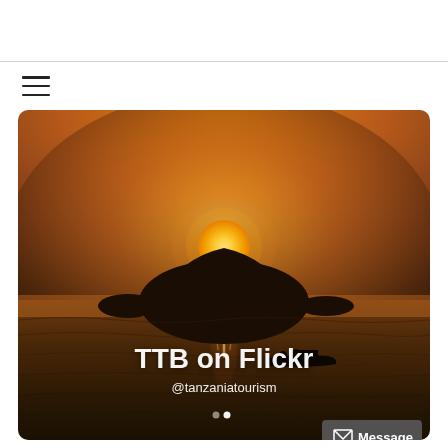[Figure (illustration): Navigation bar with hamburger menu icon (three horizontal lines) on white background]
[Figure (photo): Scenic sunset photo over a lake or sea with a silhouetted island in the background and a small boat in the foreground. Overlaid text reads 'TTB on Flickr' and '@tanzaniatourism'. A 'Message' button appears in the bottom-right corner.]